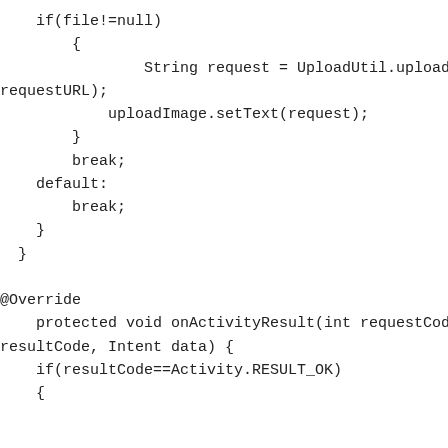if(file!=null)
        {
                String request = UploadUtil.uploadFile( file,
requestURL);
            uploadImage.setText(request);
        }
        break;
    default:
        break;
    }
}

@Override
    protected void onActivityResult(int requestCode,  int
resultCode, Intent data) {
    if(resultCode==Activity.RESULT_OK)
    {